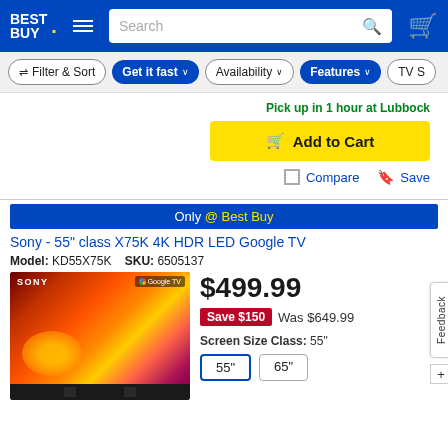[Figure (screenshot): Best Buy website header navigation bar with logo, hamburger menu, search bar, and cart icon]
[Figure (screenshot): Filter bar with Filter & Sort, Get it fast, Availability, Features, and TV S... buttons]
Pick up in 1 hour at Lubbock
Add to Cart
Compare
Save
Only @ Best Buy
Sony - 55" class X75K 4K HDR LED Google TV
Model: KD55X75K  SKU: 6505137
[Figure (photo): Sony 55 inch X75K Google TV product image showing the TV with colorful nature scene on screen, Sony branding visible, standing on TV stand]
$499.99
Save $150  Was $649.99
Screen Size Class: 55"
55"  65"